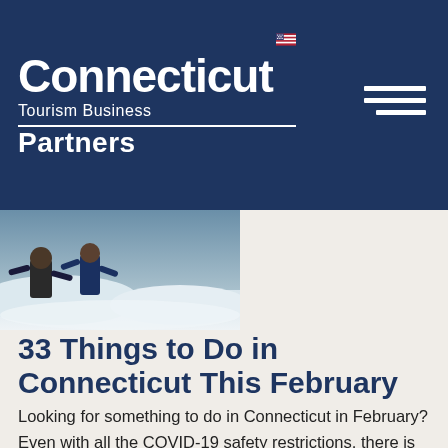[Figure (logo): Connecticut Tourism Business Partners logo — white text on dark navy blue background with hamburger menu icon on right]
[Figure (photo): Partial outdoor winter photo showing people in snow gear against a snowy background, cropped at top]
33 Things to Do in Connecticut This February
Looking for something to do in Connecticut in February? Even with all the COVID-19 safety restrictions, there is still so much to see and do — and you can be sure businesses are working hard to keep you safe. Whether you want something active or relaxing, cultural or nature-oriented, historic or